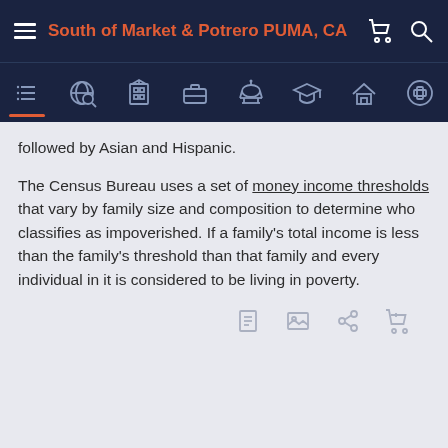South of Market & Potrero PUMA, CA
followed by Asian and Hispanic.
The Census Bureau uses a set of money income thresholds that vary by family size and composition to determine who classifies as impoverished. If a family's total income is less than the family's threshold than that family and every individual in it is considered to be living in poverty.